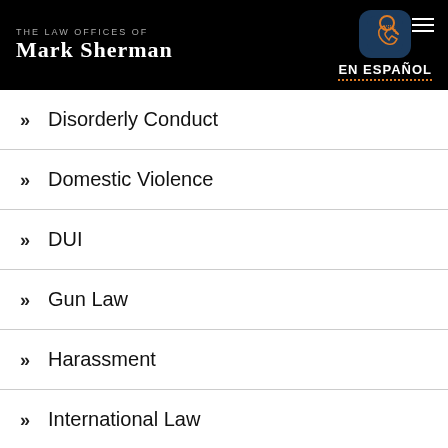THE LAW OFFICES OF MARK SHERMAN | EN ESPAÑOL
Disorderly Conduct
Domestic Violence
DUI
Gun Law
Harassment
International Law
Marijuana Possession